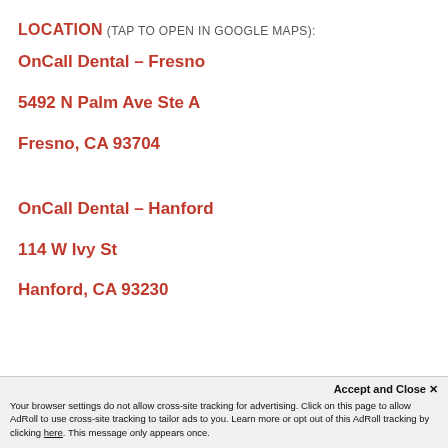LOCATION (TAP TO OPEN IN GOOGLE MAPS):
OnCall Dental – Fresno
5492 N Palm Ave Ste A
Fresno, CA 93704
OnCall Dental – Hanford
114 W Ivy St
Hanford, CA 93230
Accept and Close ✕
Your browser settings do not allow cross-site tracking for advertising. Click on this page to allow AdRoll to use cross-site tracking to tailor ads to you. Learn more or opt out of this AdRoll tracking by clicking here. This message only appears once.